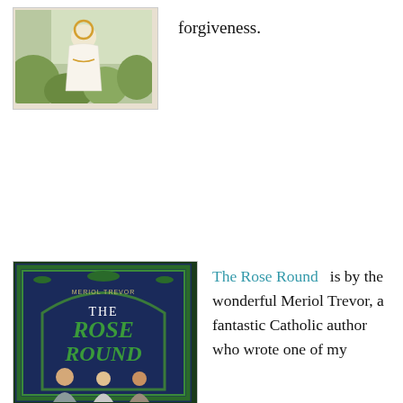[Figure (illustration): Book cover or illustration showing a figure in white robes with golden halo, surrounded by green foliage]
forgiveness.
[Figure (illustration): Book cover of 'The Rose Round' by Meriol Trevor, showing three young people on a dark blue background with ornate green border]
The Rose Round  is by the wonderful Meriol Trevor, a fantastic Catholic author who wrote one of my